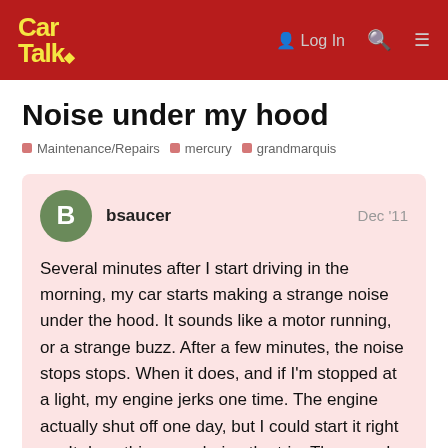Car Talk — Log In
Noise under my hood
Maintenance/Repairs   mercury   grandmarquis
bsaucer   Dec '11
Several minutes after I start driving in the morning, my car starts making a strange noise under the hood. It sounds like a motor running, or a strange buzz. After a few minutes, the noise stops stops. When it does, and if I'm stopped at a light, my engine jerks one time. The engine actually shut off one day, but I could start it right up. It does this once during the trip. The speed of the car or engine has no effect on the stops if I turn the car off. If I restart th
1 / 5